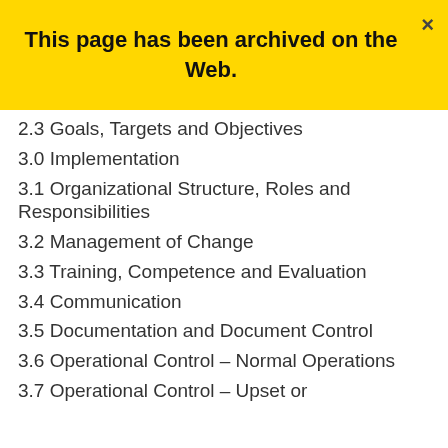This page has been archived on the Web.
2.3 Goals, Targets and Objectives
3.0 Implementation
3.1 Organizational Structure, Roles and Responsibilities
3.2 Management of Change
3.3 Training, Competence and Evaluation
3.4 Communication
3.5 Documentation and Document Control
3.6 Operational Control – Normal Operations
3.7 Operational Control – Upset or